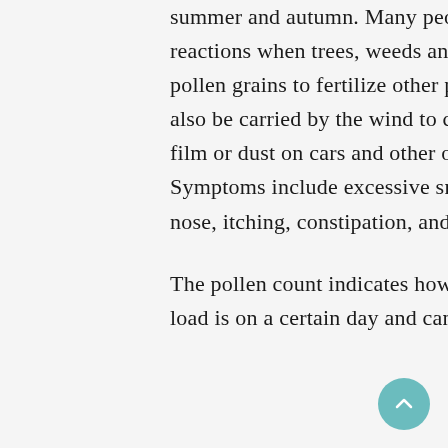summer and autumn. Many people experience reactions when trees, weeds and grasses release pollen grains to fertilize other plants. Pollen can also be carried by the wind to create a pale yellow film or dust on cars and other outdoor objects. Symptoms include excessive sneezing, runny nose, itching, constipation, and eye irritation.
The pollen count indicates how high the pollen load is on a certain day and can be